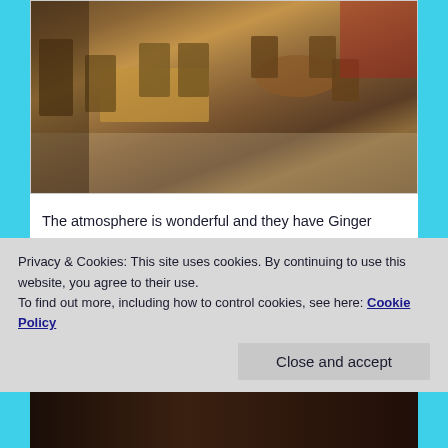[Figure (photo): Interior of a pub/restaurant showing wooden tables and chairs with high-backed seats, dark floor, warm lighting]
The atmosphere is wonderful and they have Ginger Joe’s Ginger Beer. I can’t manage to find Joe’s in the States, so if you see any, let me know where I might obtain said Ginger Beer. By the way, Ginger Beer (generically) comes in both the alcoholic and non-alcoholic variety, although
Privacy & Cookies: This site uses cookies. By continuing to use this website, you agree to their use.
To find out more, including how to control cookies, see here: Cookie Policy
[Figure (photo): Bottom strip photo, dark interior image, partially visible]